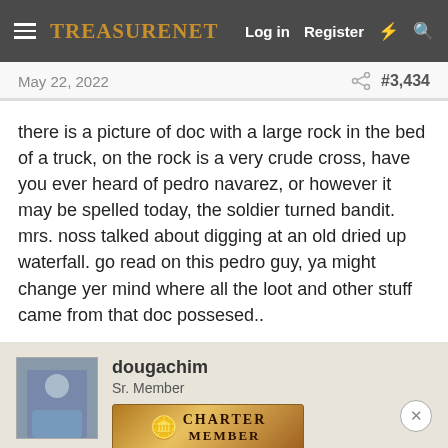TreasureNet  Log in  Register
May 22, 2022  #3,434
there is a picture of doc with a large rock in the bed of a truck, on the rock is a very crude cross, have you ever heard of pedro navarez, or however it may be spelled today, the soldier turned bandit. mrs. noss talked about digging at an old dried up waterfall. go read on this pedro guy, ya might change yer mind where all the loot and other stuff came from that doc possesed..
dougachim
Sr. Member
CHARTER MEMBER